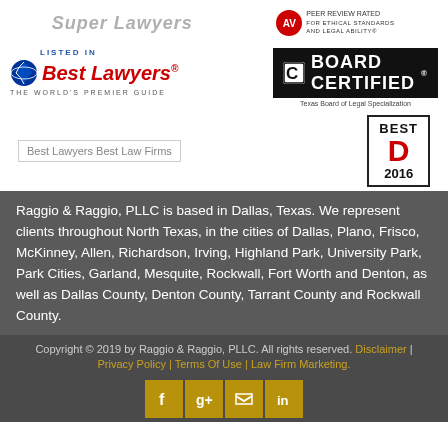[Figure (logo): Super Lawyers logo (gray/italic text) and AV Preeminent rated badge (red circle with AV, small tagline text)]
[Figure (logo): Best Lawyers logo with blue globe icon, red italic text 'Best Lawyers', LISTED IN label above, THE WORLD'S PREMIER GUIDE below]
[Figure (logo): Board Certified logo - Texas Board of Legal Specialization, black box with C icon and BOARD CERTIFIED text]
[Figure (logo): Best Lawyers Best Law Firms badge (image placeholder)]
[Figure (logo): Best D 2016 badge - bordered box with BEST, large red D, and 2016]
Raggio & Raggio, PLLC is based in Dallas, Texas. We represent clients throughout North Texas, in the cities of Dallas, Plano, Frisco, McKinney, Allen, Richardson, Irving, Highland Park, University Park, Park Cities, Garland, Mesquite, Rockwall, Fort Worth and Denton, as well as Dallas County, Denton County, Tarrant County and Rockwall County.
Copyright © 2019 by Raggio & Raggio, PLLC. All rights reserved. Disclaimer | Privacy Policy | Terms Of Use | Law Firm Marketing.
[Figure (other): Social media icons row: Facebook, Google+, Twitter, LinkedIn - gold square backgrounds with white icons]